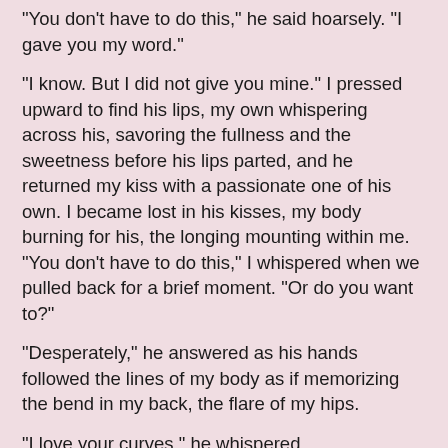'You don't have to do this,' he said hoarsely. 'I gave you my word.'
'I know. But I did not give you mine.' I pressed upward to find his lips, my own whispering across his, savoring the fullness and the sweetness before his lips parted, and he returned my kiss with a passionate one of his own. I became lost in his kisses, my body burning for his, the longing mounting within me. 'You don't have to do this,' I whispered when we pulled back for a brief moment. 'Or do you want to?'
'Desperately,' he answered as his hands followed the lines of my body as if memorizing the bend in my back, the flare of my hips.
'I love your curves,' he whispered.
'I am a bit hefty,' I answered, suddenly self-conscious.
'Oh, I beg to differ,' he said, his voice becoming serious. 'I love every curve. Your body might not be perfect, but it is certainly perfect for me.'
I felt as though a thousand pounds had been lifted from my